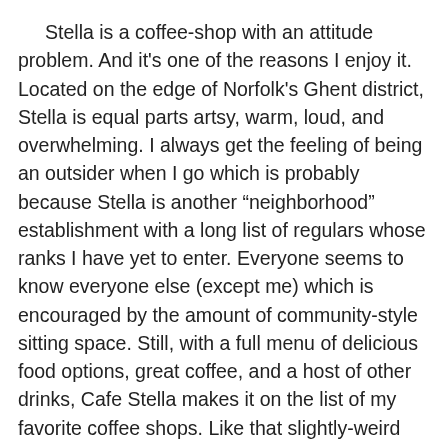Stella is a coffee-shop with an attitude problem. And it's one of the reasons I enjoy it. Located on the edge of Norfolk's Ghent district, Stella is equal parts artsy, warm, loud, and overwhelming. I always get the feeling of being an outsider when I go which is probably because Stella is another “neighborhood” establishment with a long list of regulars whose ranks I have yet to enter. Everyone seems to know everyone else (except me) which is encouraged by the amount of community-style sitting space. Still, with a full menu of delicious food options, great coffee, and a host of other drinks, Cafe Stella makes it on the list of my favorite coffee shops. Like that slightly-weird but somehow attractive kid in your circle of friends, you're not out till you've tried to be in, even if being “in” wasn't your goal to begin with. Of all the shops on this list, Stella wins points for sitting space, boasting a front and back room and outdoor patio, plus two bay window tables I've never been lucky enough to nab. An added feature that makes Stella that much cooler is the binder collection